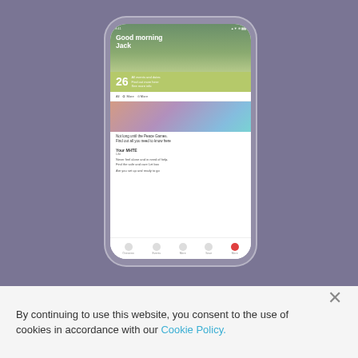[Figure (screenshot): A blurred/faded smartphone mockup showing a mobile app interface called 'Hub'. The screen displays a greeting 'Good morning Jack', a calendar bar with the number 26, filter tabs (All, More), a news image with people, article text snippets, and a bottom navigation bar. The phone sits on a muted purple background.]
Hub
By continuing to use this website, you consent to the use of cookies in accordance with our Cookie Policy.